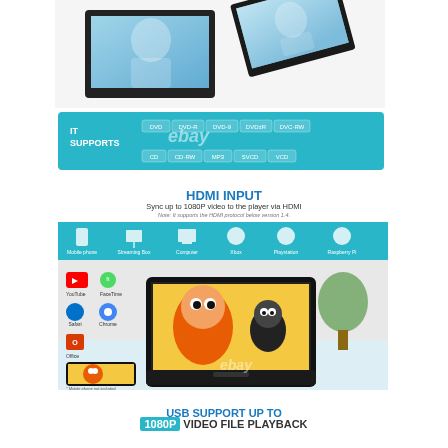[Figure (photo): Top portion showing portable DVD player screens with display open, product shot from above]
[Figure (infographic): Teal banner: IT SUPPORTS DVD, DVD-R, DVD-9, DVD±R, DVC-RW, CD, CD-RW, MP3, SVCD, VCD format tags]
HDMI INPUT
Sync up to 1080P video to the player via HDMI
Note: It supports the HDMI protocol below version 1.4.
[Figure (infographic): HDMI Input section showing compatible devices: Mobile phone, Streaming Box, Computer, Xbox, Playstation, Raspberry Pi icons in teal banner; below shows portable DVD player displaying cartoon animation mirrored from a smartphone; app icons shown: YouTube, FaceTime, Safari, Chrome, Office]
USB SUPPORT UP TO
1080P VIDEO FILE PLAYBACK